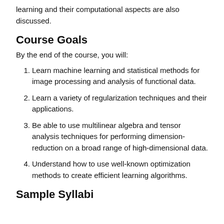learning and their computational aspects are also discussed.
Course Goals
By the end of the course, you will:
Learn machine learning and statistical methods for image processing and analysis of functional data.
Learn a variety of regularization techniques and their applications.
Be able to use multilinear algebra and tensor analysis techniques for performing dimension-reduction on a broad range of high-dimensional data.
Understand how to use well-known optimization methods to create efficient learning algorithms.
Sample Syllabi